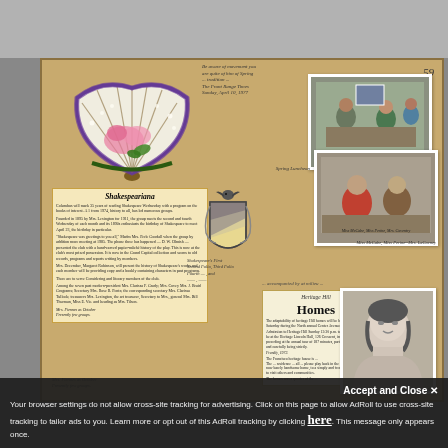[Figure (photo): Gray top area of scanned webpage]
[Figure (illustration): Scrapbook page with fan illustration, newspaper clippings, handwritten notes, and photographs]
59
Shakespeariana
Heritage Hill
Homes
Spring Luncheon
Shakespeare's First ... Second Folio, Third Folio, Fourth -- , and ...
... accompanied by at milieu ...
[Figure (photo): Color photo of people at a table - Spring Luncheon]
[Figure (photo): Color photo of people seated indoors]
[Figure (photo): Black and white portrait of a woman]
[Figure (illustration): Coat of arms / heraldic shield illustration]
Accept and Close ✕
Your browser settings do not allow cross-site tracking for advertising. Click on this page to allow AdRoll to use cross-site tracking to tailor ads to you. Learn more or opt out of this AdRoll tracking by clicking here. This message only appears once.